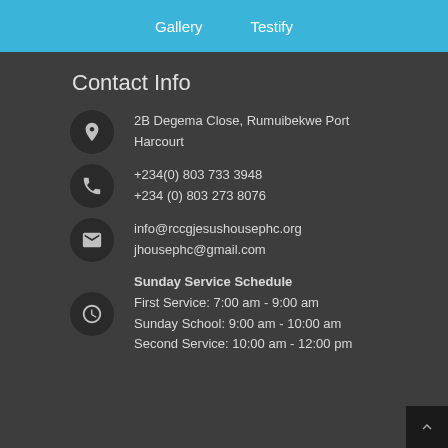Gallery   Testify
Contact Info
2B Degema Close, Rumuibekwe Port Harcourt
+234(0) 803 733 3948
+234 (0) 803 273 8076
info@rccgjesushousephc.org
jhousephc@gmail.com
Sunday Service Schedule
First Service: 7:00 am - 9:00 am
Sunday School: 9:00 am - 10:00 am
Second Service: 10:00 am - 12:00 pm